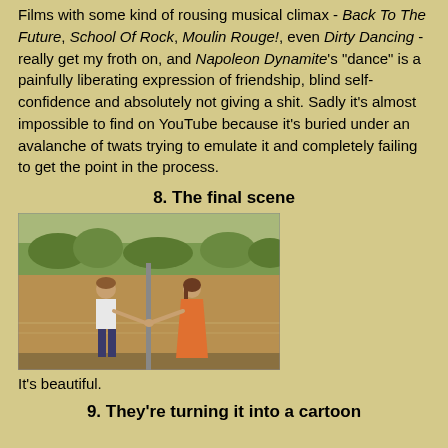Films with some kind of rousing musical climax - Back To The Future, School Of Rock, Moulin Rouge!, even Dirty Dancing - really get my froth on, and Napoleon Dynamite's "dance" is a painfully liberating expression of friendship, blind self-confidence and absolutely not giving a shit. Sadly it's almost impossible to find on YouTube because it's buried under an avalanche of twats trying to emulate it and completely failing to get the point in the process.
8. The final scene
[Figure (photo): A boy and a girl facing each other holding hands around a pole, standing on a tennis court or outdoor field with greenery in the background. Scene from Napoleon Dynamite.]
It's beautiful.
9. They're turning it into a cartoon